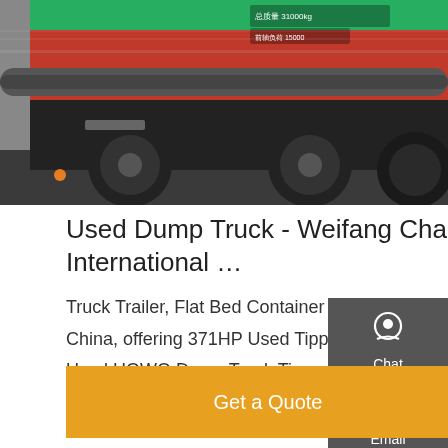[Figure (photo): Close-up photo of a large red and green dump truck, showing wheels, chassis, and undercarriage from a low angle.]
Used Dump Truck - Weifang Changjiu International …
Truck Trailer, Flat Bed Container Trailer, Skeleton Container Trailer manufacturer / supplier in China, offering 371HP Used Tipper Truck 10 Wheeler 35ton Dump Truck Heavy, Low Price Used HOWO Dump Truck Tipper Truck 371HP 375HP 6X4 8X4 40t-60t Loading with Excellent Condition and Best Price for Africa, Used Dump Truck Good Condition Used HOWO Dump …
[Figure (other): Side panel with Chat, Email, Contact, and Top navigation buttons on dark grey background.]
Get a Quote